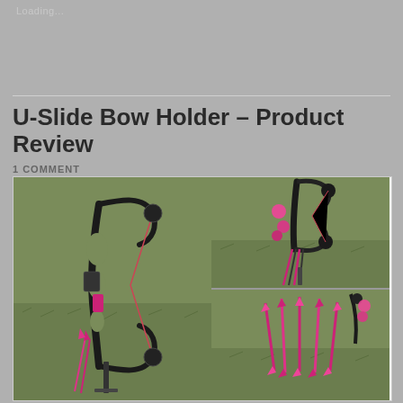Loading...
U-Slide Bow Holder – Product Review
1 COMMENT
[Figure (photo): Collage of three photos showing a compound bow (black with pink accents) placed upright on grass using a U-Slide bow holder. Left photo shows full bow from side. Top-right photo shows the bow from behind with arrows. Bottom-right photo shows pink-fletched arrows in the ground.]